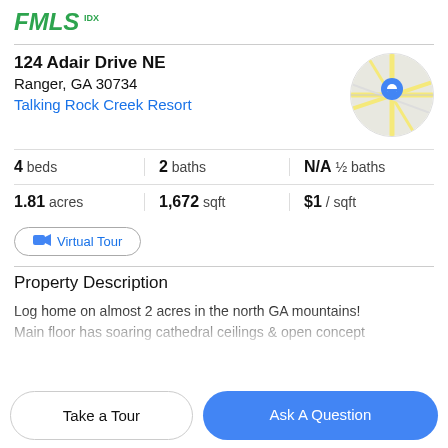[Figure (logo): FMLS IDX logo in green]
124 Adair Drive NE
Ranger, GA 30734
Talking Rock Creek Resort
[Figure (map): Circular map thumbnail with blue location pin marker]
4 beds | 2 baths | N/A ½ baths | 1.81 acres | 1,672 sqft | $1 / sqft
Virtual Tour
Property Description
Log home on almost 2 acres in the north GA mountains! Main floor has soaring cathedral ceilings & open concept
Take a Tour
Ask A Question